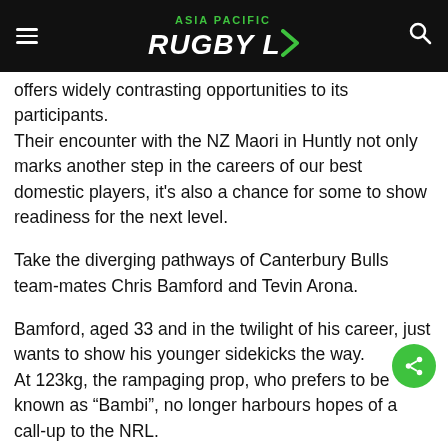ASIA PACIFIC RUGBY LEAGUE
offers widely contrasting opportunities to its participants.
Their encounter with the NZ Maori in Huntly not only marks another step in the careers of our best domestic players, it's also a chance for some to show readiness for the next level.
Take the diverging pathways of Canterbury Bulls team-mates Chris Bamford and Tevin Arona.
Bamford, aged 33 and in the twilight of his career, just wants to show his younger sidekicks the way.
At 123kg, the rampaging prop, who prefers to be known as “Bambi”, no longer harbours hopes of a call-up to the NRL.
He’s already nibbled at the edge of that